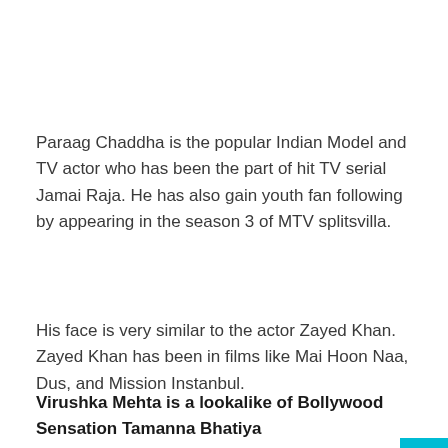Paraag Chaddha is the popular Indian Model and TV actor who has been the part of hit TV serial Jamai Raja. He has also gain youth fan following by appearing in the season 3 of MTV splitsvilla.
His face is very similar to the actor Zayed Khan. Zayed Khan has been in films like Mai Hoon Naa, Dus, and Mission Instanbul.
Virushka Mehta is a lookalike of Bollywood Sensation Tamanna Bhatiya